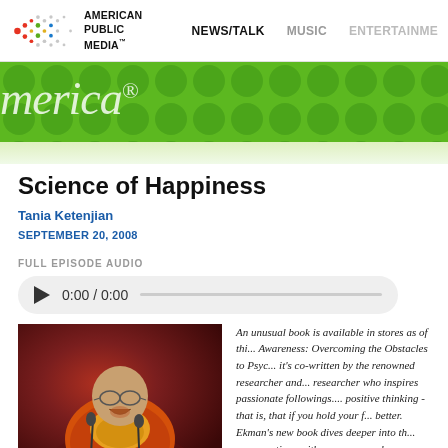AMERICAN PUBLIC MEDIA™  NEWS/TALK  MUSIC  ENTERTAINMENT
[Figure (logo): American Public Media logo with colorful dot pattern]
Science of Happiness
Tania Ketenjian
SEPTEMBER 20, 2008
FULL EPISODE AUDIO
[Figure (screenshot): Audio player showing 0:00 / 0:00]
[Figure (photo): Photo of the Dalai Lama laughing, wearing traditional red/orange robes, at a microphone]
An unusual book is available in stores as of thi... Awareness: Overcoming the Obstacles to Psyc... it's co-written by the renowned researcher and... researcher who inspires passionate followings.... positive thinking - that is, that if you hold your f... better. Ekman's new book dives deeper into th... conversations with someone much more famo...